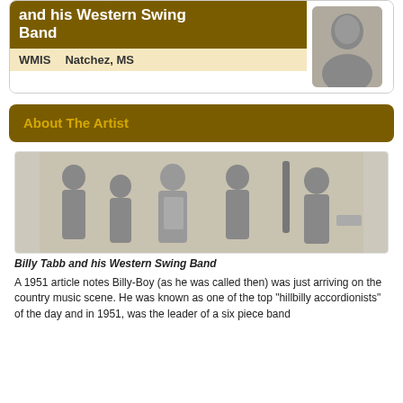and his Western Swing Band
WMIS    Natchez, MS
[Figure (photo): Portrait photo of Billy Tabb, a young man in a suit and tie]
About The Artist
[Figure (photo): Black and white photo of Billy Tabb and his Western Swing Band, showing five musicians with various instruments including accordion, guitar, and bass]
Billy Tabb and his Western Swing Band
A 1951 article notes Billy-Boy (as he was called then) was just arriving on the country music scene. He was known as one of the top "hillbilly accordionists" of the day and in 1951, was the leader of a six piece band